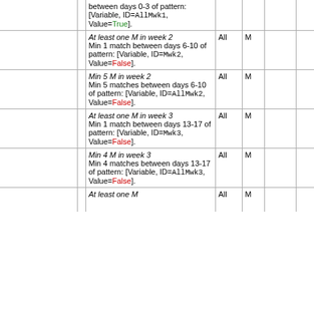|  |  | Description | Pop. | Sex |  |  |
| --- | --- | --- | --- | --- | --- | --- |
|  | between days 0-3 of pattern: [Variable, ID=AllMwk1, Value=True]. | All | M |  |  |
|  | At least one M in week 2
Min 1 match between days 6-10 of pattern: [Variable, ID=Mwk2, Value=False]. | All | M |  |  |
|  | Min 5 M in week 2
Min 5 matches between days 6-10 of pattern: [Variable, ID=AllMwk2, Value=False]. | All | M |  |  |
|  | At least one M in week 3
Min 1 match between days 13-17 of pattern: [Variable, ID=Mwk3, Value=False]. | All | M |  |  |
|  | Min 4 M in week 3
Min 4 matches between days 13-17 of pattern: [Variable, ID=AllMwk3, Value=False]. | All | M |  |  |
|  | At least one M | All | M |  |  |